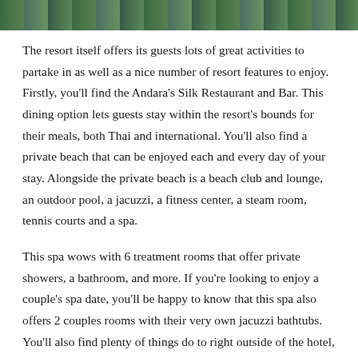[Figure (photo): Partial photo strip at the top of the page showing green tropical foliage/trees]
The resort itself offers its guests lots of great activities to partake in as well as a nice number of resort features to enjoy. Firstly, you'll find the Andara's Silk Restaurant and Bar. This dining option lets guests stay within the resort's bounds for their meals, both Thai and international. You'll also find a private beach that can be enjoyed each and every day of your stay. Alongside the private beach is a beach club and lounge, an outdoor pool, a jacuzzi, a fitness center, a steam room, tennis courts and a spa.
This spa wows with 6 treatment rooms that offer private showers, a bathroom, and more. If you're looking to enjoy a couple's spa date, you'll be happy to know that this spa also offers 2 couples rooms with their very own jacuzzi bathtubs. You'll also find plenty of things do to right outside of the hotel, including golf and shopping.